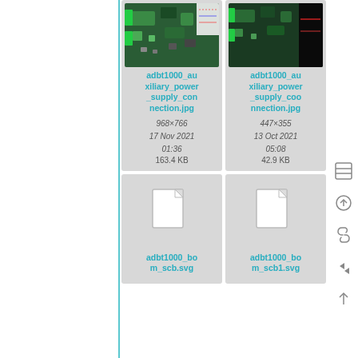[Figure (screenshot): File browser grid view showing four file cards: two JPG image files (adbt1000_auxiliary_power_supply_connection.jpg and adbt1000_auxiliary_power_supply_coo nnection.jpg) with PCB thumbnails and metadata, and two SVG files (adbt1000_bom_scb.svg and adbt1000_bom_scb1.svg) with generic file icons. Right toolbar icons visible.]
adbt1000_auxiliary_power_supply_connection.jpg
968×766
17 Nov 2021 01:36
163.4 KB
adbt1000_auxiliary_power_supply_coo nnection.jpg
447×355
13 Oct 2021 05:08
42.9 KB
adbt1000_bom_scb.svg
adbt1000_bom_scb1.svg